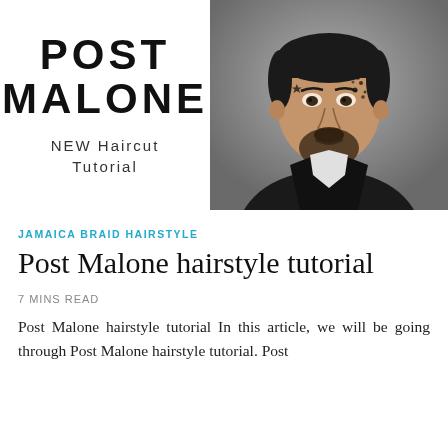POST MALONE
NEW Haircut Tutorial
[Figure (photo): Black and white portrait photo of Post Malone wearing a black suit with white cravat/bow tie, face tattoos visible, looking directly at camera]
JAMAICA BRAID HAIRSTYLE
Post Malone hairstyle tutorial
7 MINS READ
Post Malone hairstyle tutorial In this article, we will be going through Post Malone hairstyle tutorial. Post